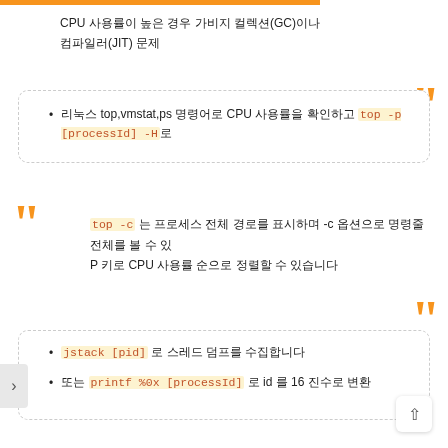CPU 사용률이 높은 경우 가비지 컬렉션(GC)이나 JIT 컴파일로 인한 문제일 수 있습니다.
리눅스 top, vmstat, ps 명령어로 CPU 사용률을 확인하고, top -p [processId] -H 로 스레드별 CPU 사용률을 확인합니다.
top -c 는 프로세스 전체 경로를 표시하며 -c 옵션으로 명령줄 전체를 볼 수 있습니다. P 키로 CPU 사용률 순으로 정렬할 수 있습니다.
jstack [pid] 로 스레드 덤프를 수집합니다.
또는 printf %0x [processId] 로 스레드 id 를 16 진수로 변환합니다.